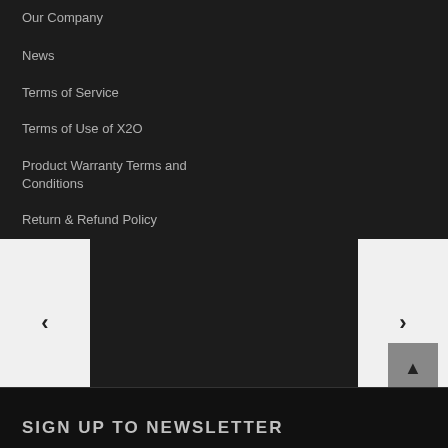Our Company
News
Terms of Service
Terms of Use of X2O
Product Warranty Terms and Conditions
Return & Refund Policy
Policy
Policy
Contact us
Join Us
SIGN UP TO NEWSLETTER